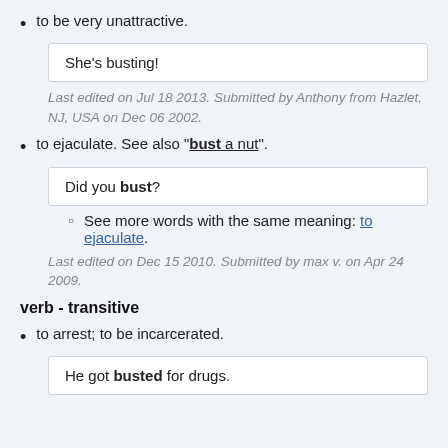to be very unattractive.
She's busting!
Last edited on Jul 18 2013. Submitted by Anthony from Hazlet, NJ, USA on Dec 06 2002.
to ejaculate. See also "bust a nut".
Did you bust?
See more words with the same meaning: to ejaculate.
Last edited on Dec 15 2010. Submitted by max v. on Apr 24 2009.
verb - transitive
to arrest; to be incarcerated.
He got busted for drugs.